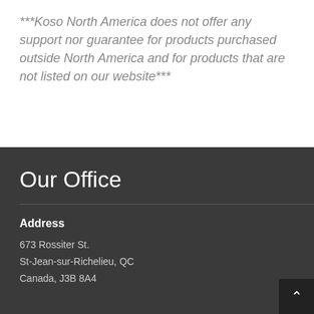***Koso North America does not offer any support nor guarantee for products purchased outside North America and for products that are not listed on our website***
Our Office
Address
673 Rossiter St.
St-Jean-sur-Richelieu, QC
Canada, J3B 8A4